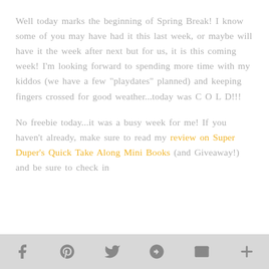Well today marks the beginning of Spring Break! I know some of you may have had it this last week, or maybe will have it the week after next but for us, it is this coming week! I'm looking forward to spending more time with my kiddos (we have a few "playdates" planned) and keeping fingers crossed for good weather...today was C O L D!!!
No freebie today...it was a busy week for me! If you haven't already, make sure to read my review on Super Duper's Quick Take Along Mini Books (and Giveaway!) and be sure to check in Wednesday for something exciting coming up!
[social share bar with Facebook, Pinterest, Twitter, Google+, Email, More icons]